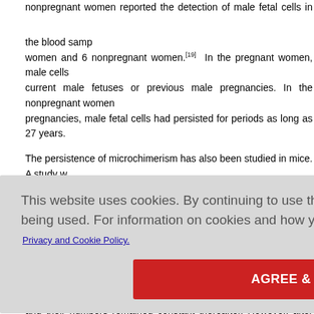nonpregnant women reported the detection of male fetal cells in the blood samples of women and 6 nonpregnant women.[19] In the pregnant women, male cells current male fetuses or previous male pregnancies. In the nonpregnant women pregnancies, male fetal cells had persisted for periods as long as 27 years.
The persistence of microchimerism has also been studied in mice. A study w assess cell migration between the fetus and the mother.[20] For this purp allogeneic, and outbred pregnancies were studied. Blood was collected at differe the detection of EGFP-positive fetal cells using nested polymerase chain re syngeneic pregnancies, fetal cells were detected in maternal circulation 10 days and their numbers remained constant thereafter. However, after the delivery, th cleared off, as no fetal cells were detected after birth. In allogeneic pregnancies efore declini Forty-two da of cell migra rteen days er, forty-two ulated that i evelopment o
This website uses cookies. By continuing to use this website you are giving consent to cookies being used. For information on cookies and how you can disable them visit our
Privacy and Cookie Policy.